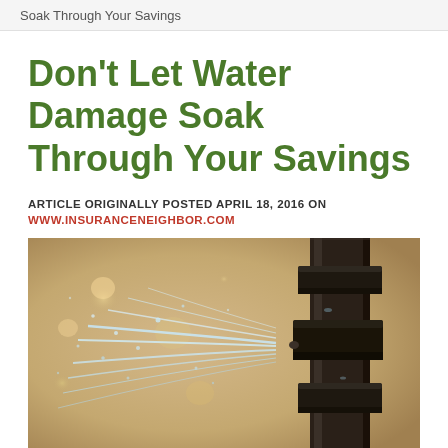Soak Through Your Savings
Don't Let Water Damage Soak Through Your Savings
ARTICLE ORIGINALLY POSTED APRIL 18, 2016 ON WWW.INSURANCENEIGHBOR.COM
[Figure (photo): Close-up photograph of a leaking dark metal pipe fitting with water spraying out forcefully against a blurred background]